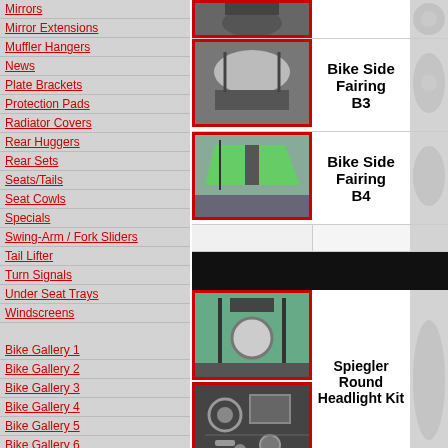Mirrors
Mirror Extensions
Muffler Hangers
News
Plate Brackets
Protection Pads
Radiator Covers
Rear Huggers
Rear Sets
Seats/Tails
Seat Cowls
Specials
Swing-Arm / Fork Sliders
Tail Lifter
Turn Signals
Under Seat Trays
Windscreens
Bike Gallery 1
Bike Gallery 2
Bike Gallery 3
Bike Gallery 4
Bike Gallery 5
Bike Gallery 6
Bike Gallery 7
[Figure (photo): Motorcycle top/front view - partial]
[Figure (photo): Bike Side Fairing B3 - silver fairing on motorcycle]
Bike Side Fairing B3
[Figure (photo): Bike Side Fairing B4 - green fairing on motorcycle]
Bike Side Fairing B4
[Figure (photo): Motorcycle front view with round headlight - Spiegler Round Headlight Kit]
Spiegler Round Headlight Kit
[Figure (photo): Spiegler Round Headlight Kit - parts/hardware components]